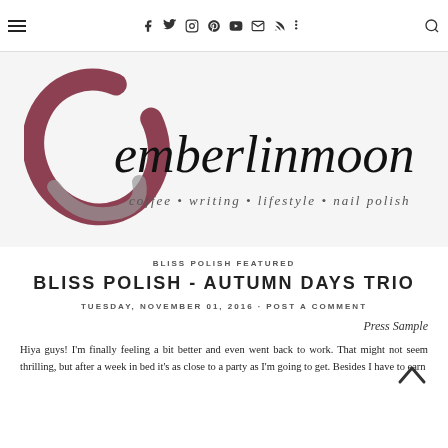emberlinmoon — coffee • writing • lifestyle • nail polish
[Figure (logo): emberlinmoon blog logo with script text and circular brushstroke in dark red/maroon, subtitle: coffee • writing • lifestyle • nail polish]
BLISS POLISH FEATURED
BLISS POLISH - AUTUMN DAYS TRIO
TUESDAY, NOVEMBER 01, 2016 - POST A COMMENT
Press Sample
Hiya guys! I'm finally feeling a bit better and even went back to work. That might not seem thrilling, but after a week in bed it's as close to a party as I'm going to get. Besides I have to earn